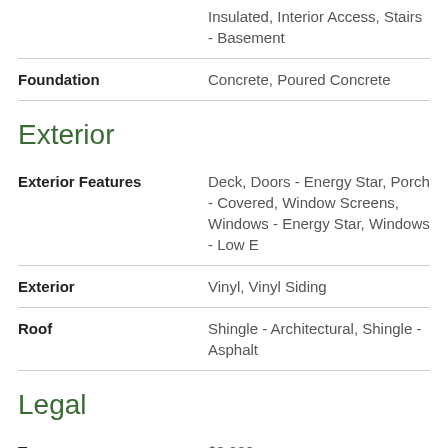| Field | Value |
| --- | --- |
|  | Insulated, Interior Access, Stairs - Basement |
| Foundation | Concrete, Poured Concrete |
Exterior
| Field | Value |
| --- | --- |
| Exterior Features | Deck, Doors - Energy Star, Porch - Covered, Window Screens, Windows - Energy Star, Windows - Low E |
| Exterior | Vinyl, Vinyl Siding |
| Roof | Shingle - Architectural, Shingle - Asphalt |
Legal
| Field | Value |
| --- | --- |
| Taxes | $8,000 |